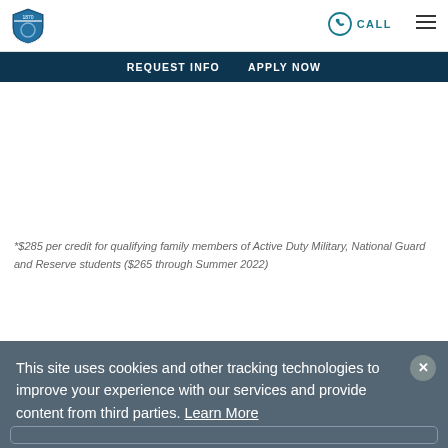CALL  [hamburger menu]
REQUEST INFO   APPLY NOW
*$285 per credit for qualifying family members of Active Duty Military, National Guard and Reserve students ($265 through Summer 2022)
This site uses cookies and other tracking technologies to improve your experience with our services and provide content from third parties. Learn More